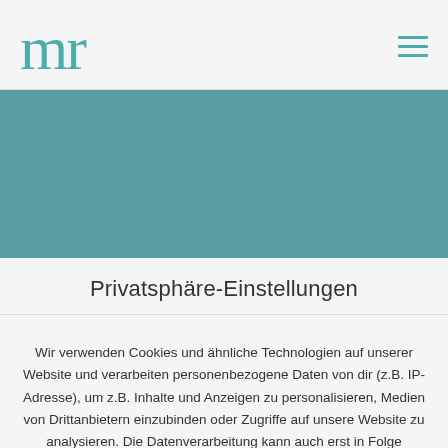mr
[Figure (illustration): Teal/muted blue-green rectangular banner image area]
Privatsphäre-Einstellungen
Wir verwenden Cookies und ähnliche Technologien auf unserer Website und verarbeiten personenbezogene Daten von dir (z.B. IP-Adresse), um z.B. Inhalte und Anzeigen zu personalisieren, Medien von Drittanbietern einzubinden oder Zugriffe auf unsere Website zu analysieren. Die Datenverarbeitung kann auch erst in Folge gesetzter Cookies stattfinden. Wir teilen diese Daten mit Dritten, die wir in den Privatsphäre-Einstellungen benennen.